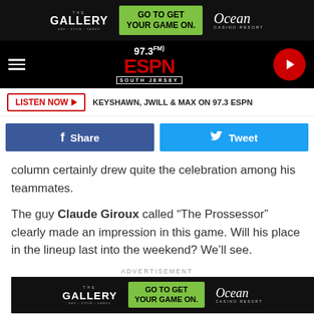[Figure (illustration): The Gallery / Go To Get Your Game On / Ocean Casino Resort advertisement banner (top)]
[Figure (logo): 97.3 FM ESPN South Jersey radio station logo and navigation bar with hamburger menu and play button]
[Figure (illustration): LISTEN NOW button with text: KEYSHAWN, JWILL & MAX ON 97.3 ESPN]
[Figure (illustration): Facebook Share and Twitter Tweet social sharing buttons]
column certainly drew quite the celebration among his teammates.
The guy Claude Giroux called “The Prossessor” clearly made an impression in this game. Will his place in the lineup last into the weekend? We’ll see.
ADVERTISEMENT
[Figure (illustration): The Gallery / Go To Get Your Game On / Ocean Casino Resort advertisement banner (bottom)]